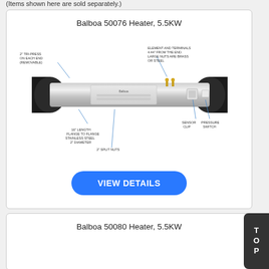(Items shown here are sold separately.)
Balboa 50076 Heater, 5.5KW
[Figure (photo): Technical diagram of a Balboa 50076 Heater 5.5KW showing labeled parts: 2 inch tri-press on each end (removable), element and terminals 4.44 from the end, large nuts are brass or steel, 16 inch length flange to flange stainless steel 2 inch diameter, sensor clip, pressure switch, 2 inch split nuts on each end.]
VIEW DETAILS
Balboa 50080 Heater, 5.5KW